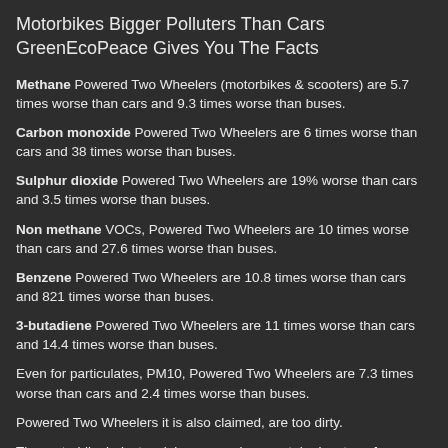Motorbikes Bigger Polluters Than Cars GreenEcoPeace Gives You The Facts
Methane Powered Two Wheelers (motorbikes & scooters) are 5.7 times worse than cars and 9.3 times worse than buses.
Carbon monoxide Powered Two Wheelers are 6 times worse than cars and 38 times worse than buses.
Sulphur dioxide Powered Two Wheelers are 19% worse than cars and 3.5 times worse than buses.
Non methane VOCs, Powered Two Wheelers are 10 times worse than cars and 27.6 times worse than buses.
Benzene Powered Two Wheelers are 10.8 times worse than cars and 821 times worse than buses.
3-butadiene Powered Two Wheelers are 11 times worse than cars and 14.4 times worse than buses.
Even for particulates, PM10, Powered Two Wheelers are 7.3 times worse than cars and 2.4 times worse than buses.
Powered Two Wheelers it is also claimed, are too dirty.
The motorbike industry claims an environmental advantage for Powered Two Wheelers because they use less fuel. This is totally misleading. Small Powered Two Wheelers with oil and petrol burning 2-stroke